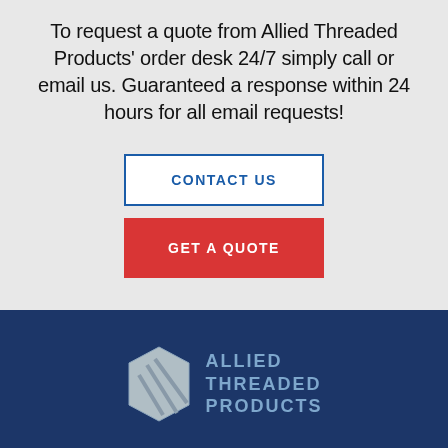To request a quote from Allied Threaded Products' order desk 24/7 simply call or email us. Guaranteed a response within 24 hours for all email requests!
CONTACT US
GET A QUOTE
[Figure (logo): Allied Threaded Products logo with hexagonal bolt icon and company name in blue on dark navy background]